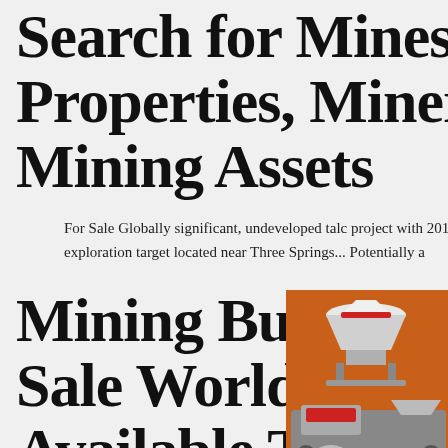Search for Mines, Properties, Mineral ... - Mining Assets
For Sale Globally significant, undeveloped talc project with 2012 JORC Resource of 3.8Mt an exploration target located near Three Springs... Potentially a
Mining Businesses For Sale Worldwide 68 Available To Buy, Now
[Figure (infographic): Orange advertisement panel showing mining equipment (crusher, conveyor, mill), 'Enjoy 3% discount' in yellow, 'Click to Chat' button in yellow, 'Enquiry' section, and email limingjlmofen@sina.com]
68 Mining Businesses Available For Sale Today on BFS, The World's Largest Marketplace for Businesses. Selling Business...